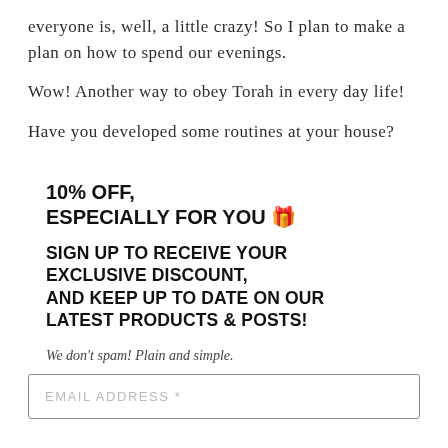everyone is, well, a little crazy! So I plan to make a plan on how to spend our evenings.
Wow! Another way to obey Torah in every day life!
Have you developed some routines at your house?
10% OFF, ESPECIALLY FOR YOU 🎁
SIGN UP TO RECEIVE YOUR EXCLUSIVE DISCOUNT, AND KEEP UP TO DATE ON OUR LATEST PRODUCTS & POSTS!
We don't spam! Plain and simple.
EMAIL ADDRESS *